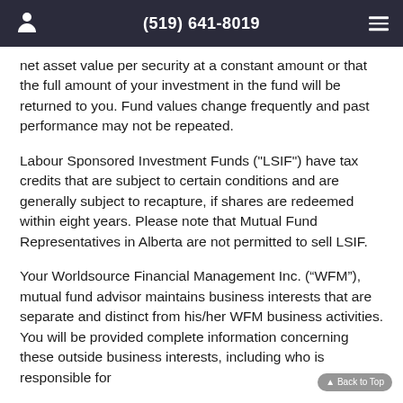(519) 641-8019
net asset value per security at a constant amount or that the full amount of your investment in the fund will be returned to you. Fund values change frequently and past performance may not be repeated.
Labour Sponsored Investment Funds ("LSIF") have tax credits that are subject to certain conditions and are generally subject to recapture, if shares are redeemed within eight years. Please note that Mutual Fund Representatives in Alberta are not permitted to sell LSIF.
Your Worldsource Financial Management Inc. (“WFM”), mutual fund advisor maintains business interests that are separate and distinct from his/her WFM business activities. You will be provided complete information concerning these outside business interests, including who is responsible for